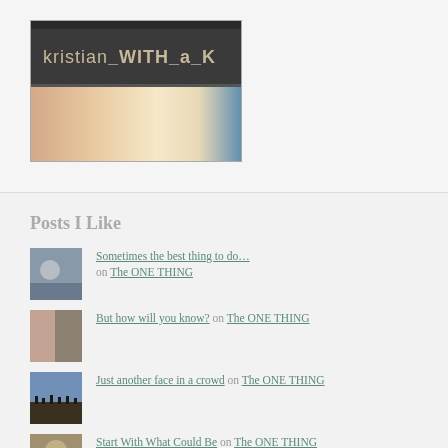[Figure (photo): Profile banner image for 'kristian_WITH_a_K' blog, showing a stylized header with text on dark background and a peach/cream gradient below]
Posts I Like
Sometimes the best thing to do… on The ONE THING
But how will you know? on The ONE THING
Just another face in a crowd on The ONE THING
Start With What Could Be on The ONE THING